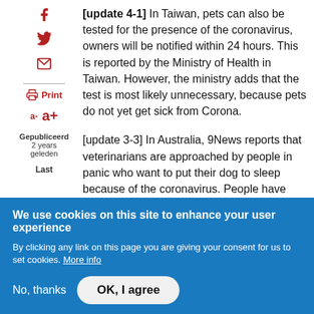[update 4-1] In Taiwan, pets can also be tested for the presence of the coronavirus, owners will be notified within 24 hours. This is reported by the Ministry of Health in Taiwan. However, the ministry adds that the test is most likely unnecessary, because pets do not yet get sick from Corona.
[update 3-3] In Australia, 9News reports that veterinarians are approached by people in panic who want to put their dog to sleep because of the coronavirus. People have become frightened
Gepubliceerd 2 years geleden Last
We use cookies on this site to enhance your user experience
By clicking any link on this page you are giving your consent for us to set cookies. More info
No, thanks   OK, I agree